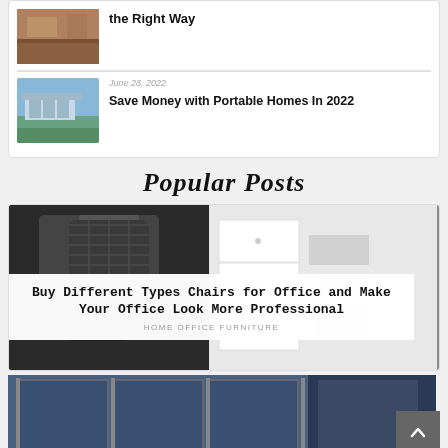[Figure (photo): Thumbnail of a room interior with wooden floor]
the Right Way
[Figure (photo): Thumbnail of a portable home exterior with blue sky]
June 28, 2022
Save Money with Portable Homes In 2022
Popular Posts
[Figure (photo): Office chair in front of white cabinet/home office furniture]
Buy Different Types Chairs for Office and Make Your Office Look More Professional
HOME OFFICE FURNITURE
[Figure (photo): Office cubicle partition panels in dark blue]